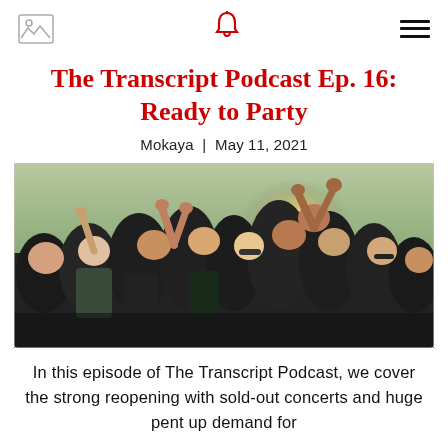[logo icon] [bell icon] [menu icon]
The Transcript Podcast Ep. 16: Ready to Party
Mokaya | May 11, 2021
[Figure (photo): A crowd of people at an outdoor concert or festival, many with hands raised and cheering, photographed in daylight with a warm backlit glow.]
In this episode of The Transcript Podcast, we cover the strong reopening with sold-out concerts and huge pent up demand for